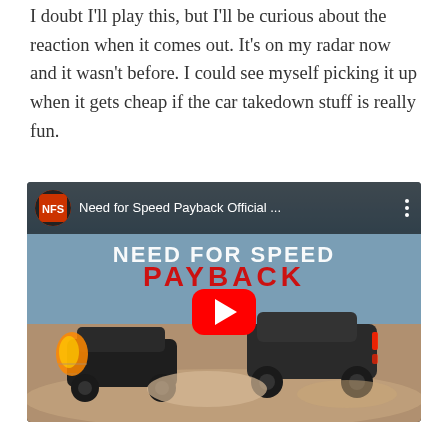I doubt I'll play this, but I'll be curious about the reaction when it comes out. It's on my radar now and it wasn't before. I could see myself picking it up when it gets cheap if the car takedown stuff is really fun.
[Figure (screenshot): Embedded YouTube video thumbnail for 'Need for Speed Payback Official ...' showing cars racing on a dusty road with the NFS Payback logo overlay and a red play button in the center.]